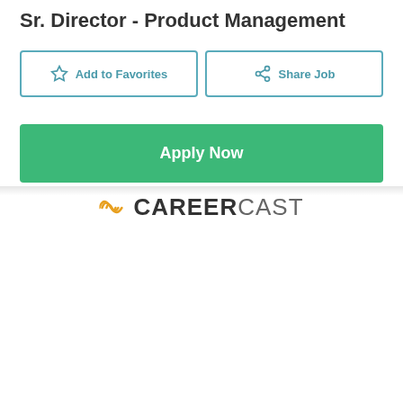Sr. Director - Product Management
[Figure (screenshot): Add to Favorites button with star icon, outlined in teal]
[Figure (screenshot): Share Job button with share icon, outlined in teal]
[Figure (screenshot): Apply Now button in green]
[Figure (logo): CareerCast logo with yellow wave icon and bold/regular text]